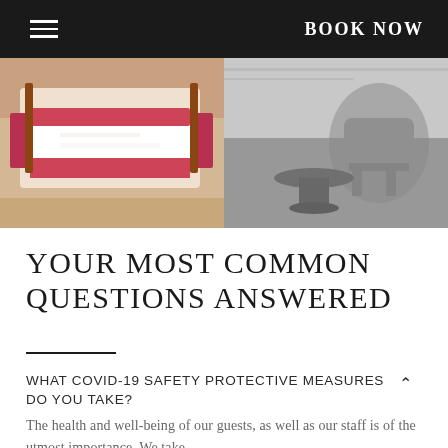BOOK NOW
[Figure (photo): Two hotel/resort photos side by side: left shows a hotel bedroom with red accents, white bedding and warm tones; right shows an outdoor seating area with wicker furniture in black and white.]
YOUR MOST COMMON QUESTIONS ANSWERED
WHAT COVID-19 SAFETY PROTECTIVE MEASURES DO YOU TAKE?
The health and well-being of our guests, as well as our staff is of the utmost importance. We take